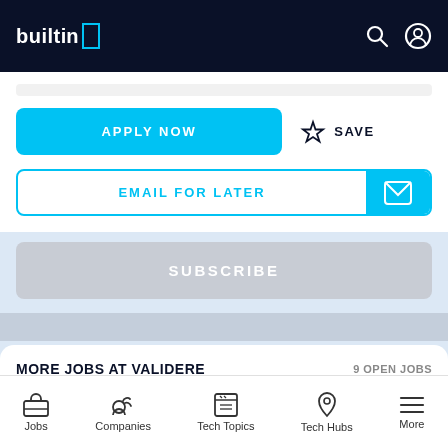builtin
APPLY NOW
SAVE
EMAIL FOR LATER
SUBSCRIBE
MORE JOBS AT VALIDERE
9 OPEN JOBS
All Jobs
Content
Jobs  Companies  Tech Topics  Tech Hubs  More